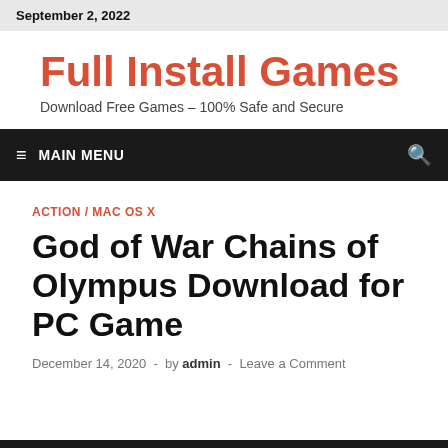September 2, 2022
Full Install Games
Download Free Games – 100% Safe and Secure
≡ MAIN MENU
ACTION / MAC OS X
God of War Chains of Olympus Download for PC Game
December 14, 2020  -  by admin  -  Leave a Comment